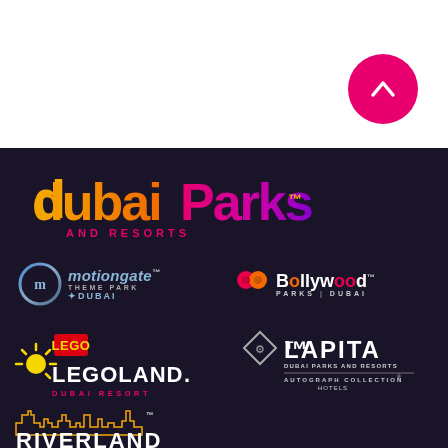[Figure (logo): Pink circular back/up button with chevron arrow on white background]
[Figure (logo): Dubai Parks and Resorts logo in colorful bubble lettering on dark background]
[Figure (logo): Motiongate Theme Park Dubai logo]
[Figure (logo): Bollywood Parks Dubai logo with TM mark]
[Figure (logo): LEGOLAND Dubai Resort logo with LEGO brick icon and sun]
[Figure (logo): Lapita Dubai Parks and Resorts - Autograph Collection Hotels logo]
[Figure (logo): Riverland Dubai logo with skyline silhouette and TM mark]